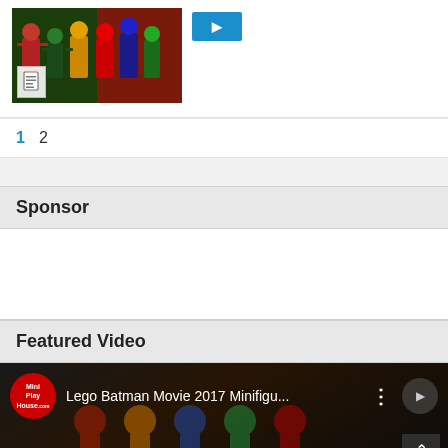[Figure (screenshot): Thumbnail image of LEGO minifigures (superhero characters) with a blue play/action button to the right]
1  2
Sponsor
[Figure (other): Empty white sponsor advertisement area]
Featured Video
[Figure (screenshot): YouTube video thumbnail: Mini Play House logo (red circle with white text) and title 'Lego Batman Movie 2017 Minifigu...' with three-dot menu icon, dark background with LEGO figures, scroll-to-top button]